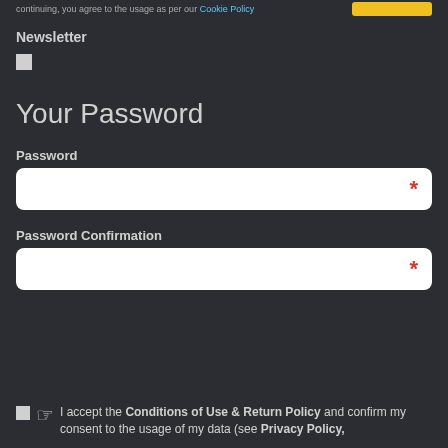continuing, you agree to the usage as per our Cookie Policy
Newsletter
Your Password
Password (required field)
Password Confirmation (required field)
I accept the Conditions of Use & Return Policy and confirm my consent to the usage of my data (see Privacy Policy,